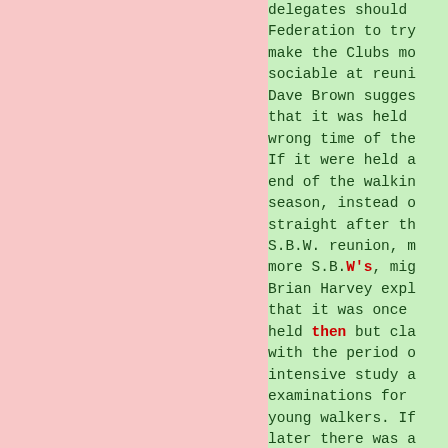delegates should Federation to try make the Clubs mo sociable at reuni Dave Brown sugges that it was held wrong time of the If it were held a end of the walkin season, instead o straight after th S.B.W. reunion, m more S.B.W's, mig Brian Harvey expl that it was once held then but cla with the period o intensive study a examinations for young walkers. If later there was a